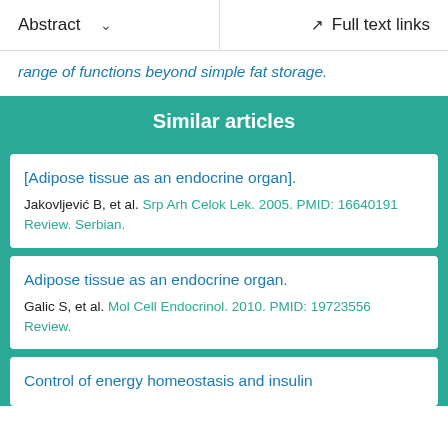Abstract   Full text links
range of functions beyond simple fat storage.
Similar articles
[Adipose tissue as an endocrine organ].
Jakovljević B, et al. Srp Arh Celok Lek. 2005. PMID: 16640191 Review. Serbian.
Adipose tissue as an endocrine organ.
Galic S, et al. Mol Cell Endocrinol. 2010. PMID: 19723556 Review.
Control of energy homeostasis and insulin